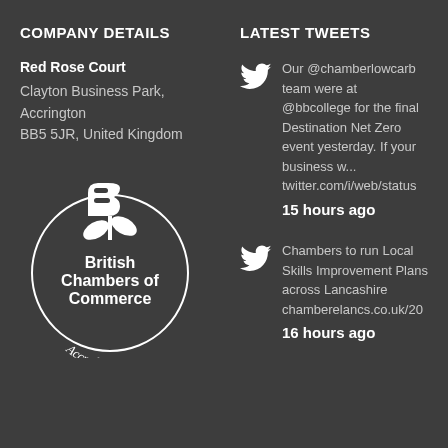COMPANY DETAILS
LATEST TWEETS
Red Rose Court
Clayton Business Park,
Accrington
BB5 5JR, United Kingdom
[Figure (logo): British Chambers of Commerce Accredited circular logo with rose emblem in white on dark background]
Our @chamberlowcarb team were at @bbcollege for the final Destination Net Zero event yesterday. If your business w... twitter.com/i/web/status
15 hours ago
Chambers to run Local Skills Improvement Plans across Lancashire chamberelancs.co.uk/20
16 hours ago